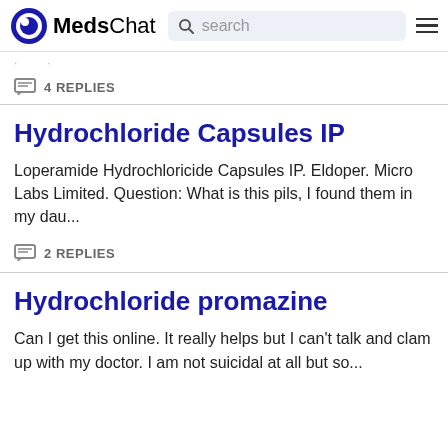MedsChat  search
4 REPLIES
Hydrochloride Capsules IP
Loperamide Hydrochloricide Capsules IP. Eldoper. Micro Labs Limited. Question: What is this pils, I found them in my dau...
2 REPLIES
Hydrochloride promazine
Can I get this online. It really helps but I can't talk and clam up with my doctor. I am not suicidal at all but so...